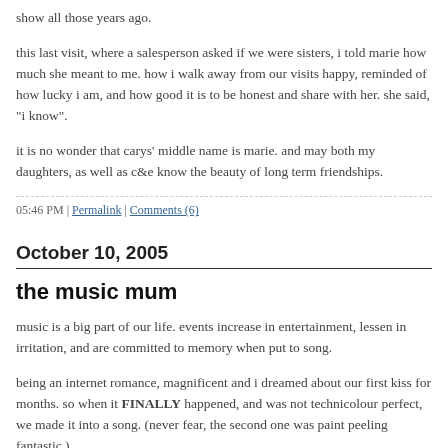show all those years ago.
this last visit, where a salesperson asked if we were sisters, i told marie how much she meant to me. how i walk away from our visits happy, reminded of how lucky i am, and how good it is to be honest and share with her. she said, "i know".
it is no wonder that carys' middle name is marie. and may both my daughters, as well as c&e know the beauty of long term friendships.
05:46 PM | Permalink | Comments (6)
October 10, 2005
the music mum
music is a big part of our life. events increase in entertainment, lessen in irritation, and are committed to memory when put to song.
being an internet romance, magnificent and i dreamed about our first kiss for months. so when it FINALLY happened, and was not technicolour perfect, we made it into a song. (never fear, the second one was paint peeling fantastic.)